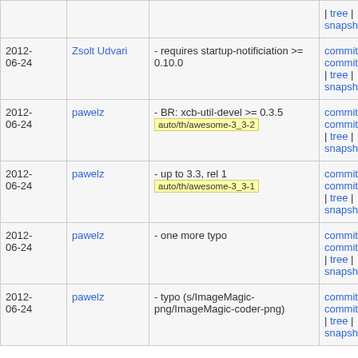| Date | Author | Description | Links |
| --- | --- | --- | --- |
|  |  |  | tree | snapshot |
| 2012-06-24 | Zsolt Udvari | - requires startup-notificiation >= 0.10.0 | commit | commitdiff | tree | snapshot |
| 2012-06-24 | pawelz | - BR: xcb-util-devel >= 0.3.5  auto/th/awesome-3_3-2 | commit | commitdiff | tree | snapshot |
| 2012-06-24 | pawelz | - up to 3.3, rel 1  auto/th/awesome-3_3-1 | commit | commitdiff | tree | snapshot |
| 2012-06-24 | pawelz | - one more typo | commit | commitdiff | tree | snapshot |
| 2012-06-24 | pawelz | - typo (s/ImageMagic-png/ImageMagic-coder-png) | commit | commitdiff | tree | snapshot |